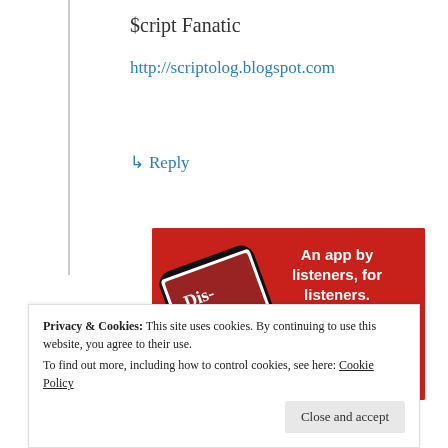$cript Fanatic
http://scriptolog.blogspot.com
↳ Reply
[Figure (photo): Advertisement banner with red background showing a smartphone displaying a podcast app with text 'Distributed' and the tagline 'An app by listeners, for listeners.' with a 'Download now' button.]
Privacy & Cookies: This site uses cookies. By continuing to use this website, you agree to their use.
To find out more, including how to control cookies, see here: Cookie Policy
Close and accept